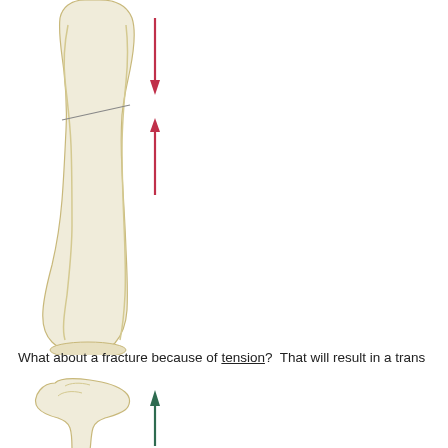[Figure (illustration): Illustration of a long bone (tibia) with two opposing red arrows indicating compression force — one arrow pointing downward from above and one pointing upward from below, with a diagonal fracture line visible in the shaft.]
What about a fracture because of tension?  That will result in a trans
[Figure (illustration): Illustration of a long bone (tibia/fibula) viewed from front, with a single dark green arrow pointing upward along the shaft, indicating tension force.]